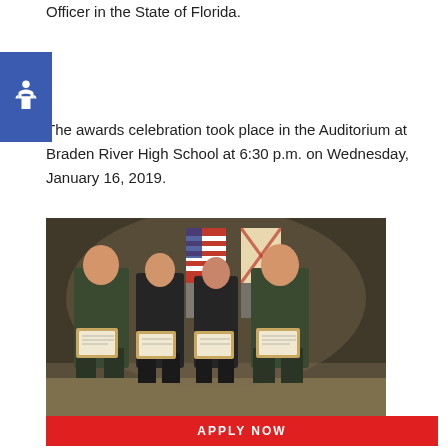Officer in the State of Florida.
The awards celebration took place in the Auditorium at Braden River High School at 6:30 p.m. on Wednesday, January 16, 2019.
[Figure (photo): Four law enforcement officers in dark uniforms standing together, each holding a framed certificate/award, in front of American and Florida state flags at an auditorium ceremony.]
APPLY NOW